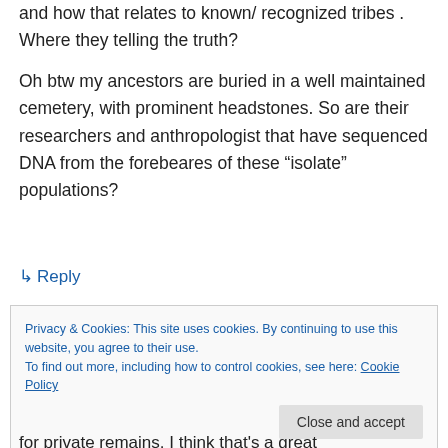and how that relates to known/ recognized tribes . Where they telling the truth?
Oh btw my ancestors are buried in a well maintained cemetery, with prominent headstones. So are their researchers and anthropologist that have sequenced DNA from the forebeares of these “isolate” populations?
↳ Reply
Privacy & Cookies: This site uses cookies. By continuing to use this website, you agree to their use.
To find out more, including how to control cookies, see here: Cookie Policy
for private remains. I think that’s a great